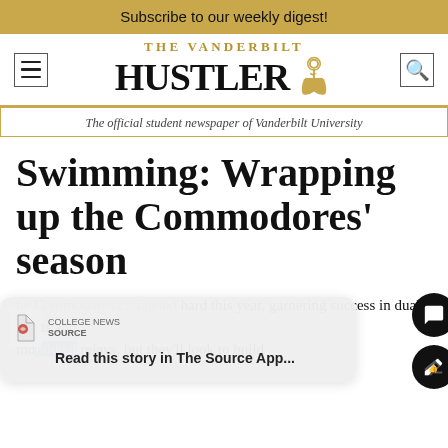Subscribe to our weekly digest!
[Figure (logo): The Vanderbilt Hustler newspaper logo with anchor icon, menu icon, and search icon]
The official student newspaper of Vanderbilt University
Swimming: Wrapping up the Commodores' season
Read this story in The Source App...
The Commodores competed hard this year, garnering success in dual meets and individual relays, but they'll look to build